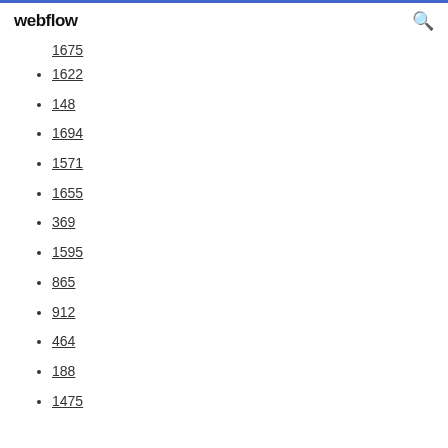webflow
1675
1622
148
1694
1571
1655
369
1595
865
912
464
188
1475